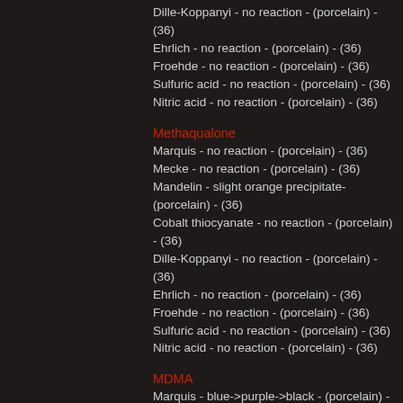Dille-Koppanyi - no reaction - (porcelain) - (36)
Ehrlich - no reaction - (porcelain) - (36)
Froehde - no reaction - (porcelain) - (36)
Sulfuric acid - no reaction - (porcelain) - (36)
Nitric acid - no reaction - (porcelain) - (36)
Methaqualone
Marquis - no reaction - (porcelain) - (36)
Mecke - no reaction - (porcelain) - (36)
Mandelin - slight orange precipitate- (porcelain) - (36)
Cobalt thiocyanate - no reaction - (porcelain) - (36)
Dille-Koppanyi - no reaction - (porcelain) - (36)
Ehrlich - no reaction - (porcelain) - (36)
Froehde - no reaction - (porcelain) - (36)
Sulfuric acid - no reaction - (porcelain) - (36)
Nitric acid - no reaction - (porcelain) - (36)
MDMA
Marquis - blue->purple->black - (porcelain) - (36)
Mecke - green->dark blue - (porcelain) - (36)
Mandelin - blue->dark purple->black - (porcelain) - (36)
Cobalt thiocyanate - no reaction - (porcelain) - (36)
Dille-Koppanyi - no reaction - (porcelain) - (36)